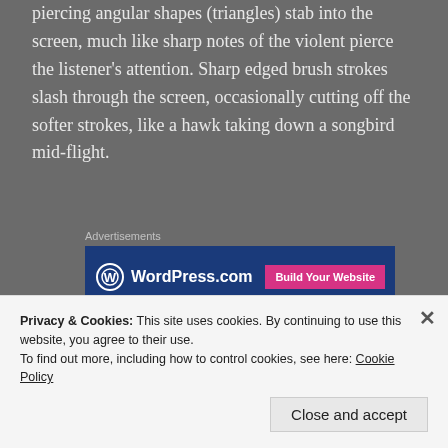piercing angular shapes (triangles) stab into the screen, much like sharp notes of the violent pierce the listener's attention. Sharp edged brush strokes slash through the screen, occasionally cutting off the softer strokes, like a hawk taking down a songbird mid-flight.
[Figure (other): Advertisements banner showing WordPress.com logo and 'Build Your Website' button on a dark blue background]
Towards the end, a single bold shape of color sways back and forth across the screen like a pendulum, and then
Privacy & Cookies: This site uses cookies. By continuing to use this website, you agree to their use.
To find out more, including how to control cookies, see here: Cookie Policy
Close and accept